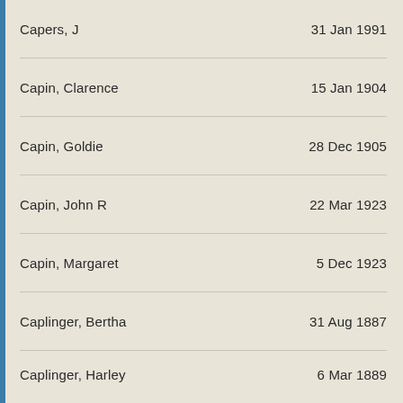Capers, J    31 Jan 1991
Capin, Clarence    15 Jan 1904
Capin, Goldie    28 Dec 1905
Capin, John R    22 Mar 1923
Capin, Margaret    5 Dec 1923
Caplinger, Bertha    31 Aug 1887
Caplinger, Harley    6 Mar 1889